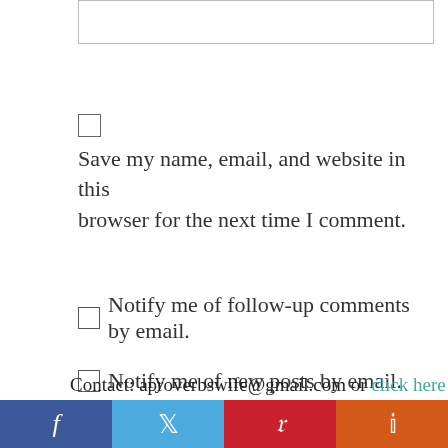[Figure (other): Text input box (comment field, partially visible at top)]
Save my name, email, and website in this browser for the next time I comment.
Notify me of follow-up comments by email.
Notify me of new posts by email.
Post Comment
Contact: aproverbswife@gmail.com or click here